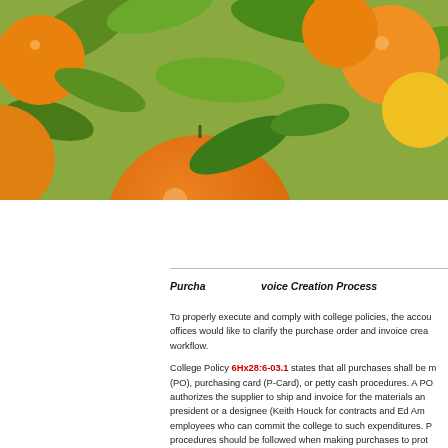[Figure (photo): Photo of oranges and leaves overlapping the top-left portion of the page]
guaranteed. However, the form omitted can be processed. For her Awan, accounts payable, saw .edu or at extension 3379.
Purchase Order/Invoice Creation Process
To properly execute and comply with college policies, the accounts offices would like to clarify the purchase order and invoice creation workflow.
College Policy 6Hx28:6-03.1 states that all purchases shall be made by (PO), purchasing card (P-Card), or petty cash procedures. A PO authorizes the supplier to ship and invoice for the materials and president or a designee (Keith Houck for contracts and Ed Ame employees who can commit the college to such expenditures. P procedures should be followed when making purchases to protect
A requisition MUST be completed and approved for the procurement of receiving services, materials and/or an invoice from the vendor. goods, services, or an invoice has been received. In the event